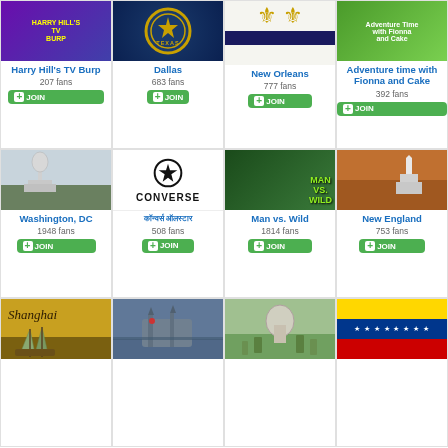[Figure (other): Harry Hill's TV Burp logo - purple/blue background with yellow text]
Harry Hill's TV Burp
207 fans
JOIN
[Figure (other): Texas state seal on dark blue background]
Dallas
683 fans
JOIN
[Figure (other): Fleur-de-lis symbols with dark blue bar on white background]
New Orleans
777 fans
JOIN
[Figure (other): Adventure Time with Fionna and Cake cartoon artwork]
Adventure time with Fionna and Cake
392 fans
JOIN
[Figure (photo): US Capitol building in Washington DC]
Washington, DC
1948 fans
JOIN
[Figure (logo): Converse All Star logo - black star in circle above CONVERSE text]
कॉन्वर्स ऑलस्टार
508 fans
JOIN
[Figure (photo): Man vs. Wild show image with Bear Grylls in jungle]
Man vs. Wild
1814 fans
JOIN
[Figure (photo): New England autumn scene with white church steeple]
New England
753 fans
JOIN
[Figure (photo): Shanghai junk boat sailing illustration]
[Figure (photo): Fishing boat on water at dusk]
[Figure (photo): Dome building with palm trees]
[Figure (photo): Venezuela flag waving with yellow, blue and red stripes and stars]